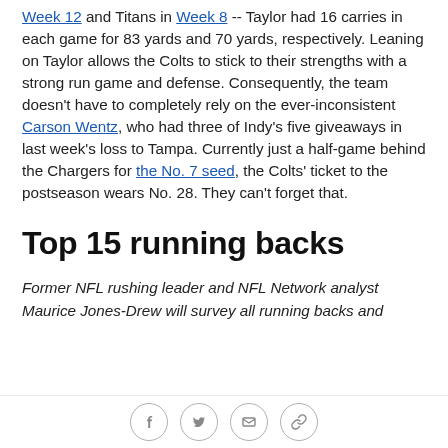Week 12 and Titans in Week 8 -- Taylor had 16 carries in each game for 83 yards and 70 yards, respectively. Leaning on Taylor allows the Colts to stick to their strengths with a strong run game and defense. Consequently, the team doesn't have to completely rely on the ever-inconsistent Carson Wentz, who had three of Indy's five giveaways in last week's loss to Tampa. Currently just a half-game behind the Chargers for the No. 7 seed, the Colts' ticket to the postseason wears No. 28. They can't forget that.
Top 15 running backs
Former NFL rushing leader and NFL Network analyst Maurice Jones-Drew will survey all running backs and
social icons: facebook, twitter, email, link